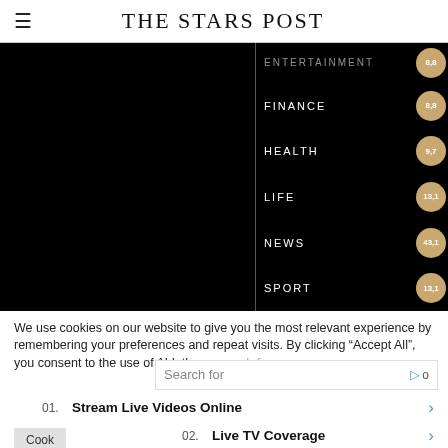THE STARS POST
[Figure (bar-chart): Category navigation chart (The Stars Post)]
We use cookies on our website to give you the most relevant experience by remembering your preferences and repeat visits. By clicking “Accept All”, you consent to the use of ALL the cookies. However, you may visit “Cookie Settings” to provide a controlled consent.
Search for
01. Stream Live Videos Online
02. Live TV Coverage
Cookie Settings
Yahoo! Search | Sponsored